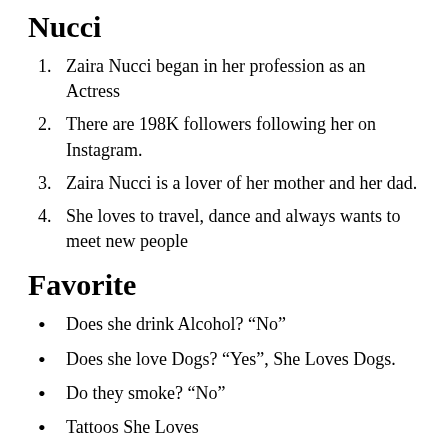Nucci
Zaira Nucci began in her profession as an Actress
There are 198K followers following her on Instagram.
Zaira Nucci is a lover of her mother and her dad.
She loves to travel, dance and always wants to meet new people
Favorite
Does she drink Alcohol? “No”
Does she love Dogs? “Yes”, She Loves Dogs.
Do they smoke? “No”
Tattoos She Loves
Does she eat non-VEG food? “No”, She Eats and follows